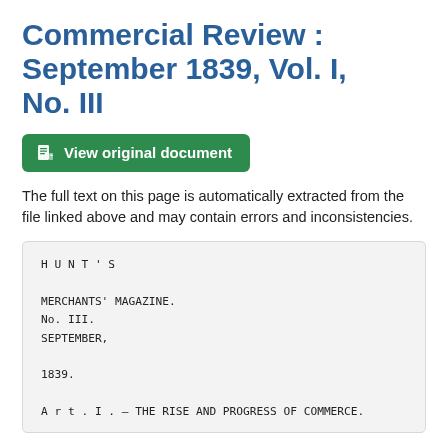Commercial Review : September 1839, Vol. I, No. III
[Figure (other): Green button labeled 'View original document' with a document icon]
The full text on this page is automatically extracted from the file linked above and may contain errors and inconsistencies.
HUNT'S

MERCHANTS' MAGAZINE.
No. III.
SEPTEMBER,

1839.

Art.I. — THE RISE AND PROGRESS OF COMMERCE.